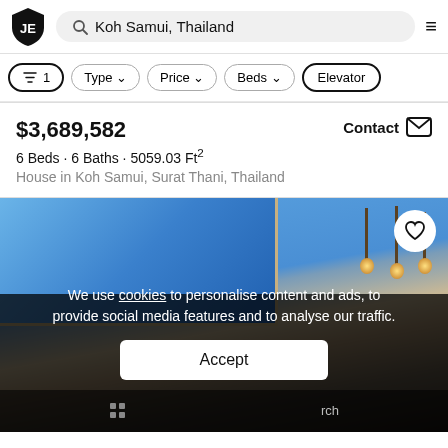[Figure (screenshot): Website header with JE shield logo, search bar showing 'Koh Samui, Thailand', and hamburger menu icon]
[Figure (screenshot): Filter row with filter buttons: '1' (active with filter icon), 'Type', 'Price', 'Beds', 'Elevator']
$3,689,582
6 Beds · 6 Baths · 5059.03 Ft²
House in Koh Samui, Surat Thani, Thailand
[Figure (photo): Interior room photo showing blue sky/ocean view through large windows, pendant lights, with cookie consent banner overlay. Cookie banner text: 'We use cookies to personalise content and ads, to provide social media features and to analyse our traffic.' Accept button visible.]